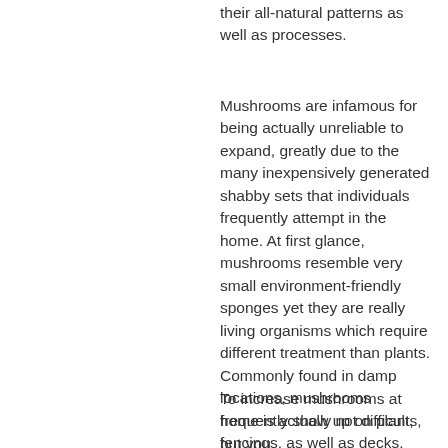their all-natural patterns as well as processes.
Mushrooms are infamous for being actually unreliable to expand, greatly due to the many inexpensively generated shabby sets that individuals frequently attempt in the home. At first glance, mushrooms resemble very small environment-friendly sponges yet they are really living organisms which require different treatment than plants. Commonly found in damp locations, mushrooms frequently show up on plants, fencings, as well as decks.
To increase mushrooms at home is actually not difficult, but you...